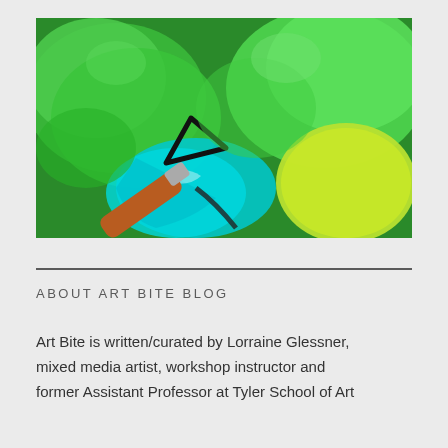[Figure (photo): Close-up photo of a painting palette knife with a triangular metal tip and wooden handle resting on a canvas covered in vibrant green, teal/cyan, and yellow-green paint strokes and blobs.]
ABOUT ART BITE BLOG
Art Bite is written/curated by Lorraine Glessner, mixed media artist, workshop instructor and former Assistant Professor at Tyler School of Art